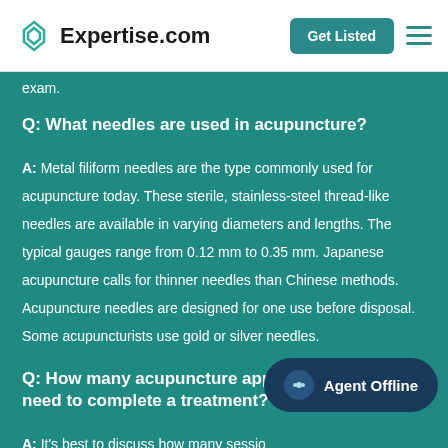Expertise.com | Get Listed
exam.
Q: What needles are used in acupuncture?
A: Metal filiform needles are the type commonly used for acupuncture today. These sterile, stainless-steel thread-like needles are available in varying diameters and lengths. The typical gauges range from 0.12 mm to 0.35 mm. Japanese acupuncture calls for thinner needles than Chinese methods. Acupuncture needles are designed for one use before disposal. Some acupuncturists use gold or silver needles.
Q: How many acupuncture appointments will you need to complete a treatment?
A: It's best to discuss how many sessions your acupuncturist during your initial consultation. Most